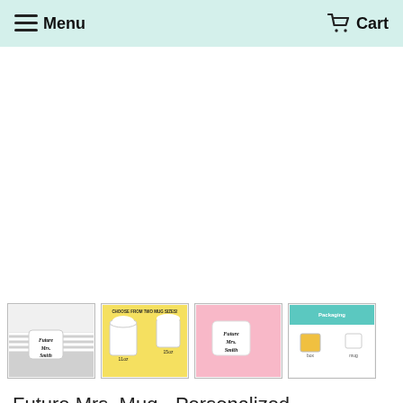Menu  Cart
[Figure (photo): Main product image area (white/empty in screenshot) for Future Mrs. Mug personalized engagement mug]
[Figure (photo): Thumbnail 1: Person holding white mug with Future Mrs. Smith text in black script]
[Figure (photo): Thumbnail 2: Two mugs with hot cocoa/whipped cream, info graphic showing mug size options 11oz or 15oz]
[Figure (photo): Thumbnail 3: Person in pink holding white mug with Future Mrs. Smith text]
[Figure (photo): Thumbnail 4: Packaging and process info card with teal/turquoise box]
Future Mrs. Mug - Personalized Engagement Mug - W0006
$ 1699